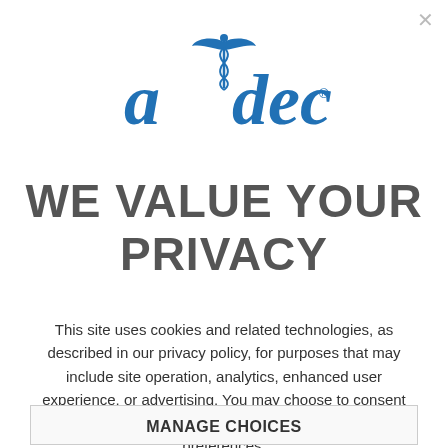[Figure (logo): A-dec dental company logo in blue with caduceus symbol above the hyphen between 'a' and 'dec']
WE VALUE YOUR PRIVACY
This site uses cookies and related technologies, as described in our privacy policy, for purposes that may include site operation, analytics, enhanced user experience, or advertising. You may choose to consent to our use of these technologies, or manage your own preferences.
MANAGE CHOICES